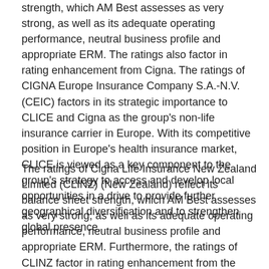strength, which AM Best assesses as very strong, as well as its adequate operating performance, neutral business profile and appropriate ERM. The ratings also factor in rating enhancement from Cigna. The ratings of CIGNA Europe Insurance Company S.A.-N.V. (CEIC) factors in its strategic importance to CLICE and Cigna as the group's non-life insurance carrier in Europe. With its competitive position in Europe's health insurance market, CLICE is viewed as a key component to the group's strategy to access and develop local opportunities in a drive to provide further geographical diversification and to strengthen global presence.
The ratings of Cigna Life Insurance New Zealand Limited (CLINZ) (New Zealand) reflect its balance sheet strength, which AM Best assesses as very strong, as well as its adequate operating performance, neutral business profile and appropriate ERM. Furthermore, the ratings of CLINZ factor in rating enhancement from the Cigna group. This